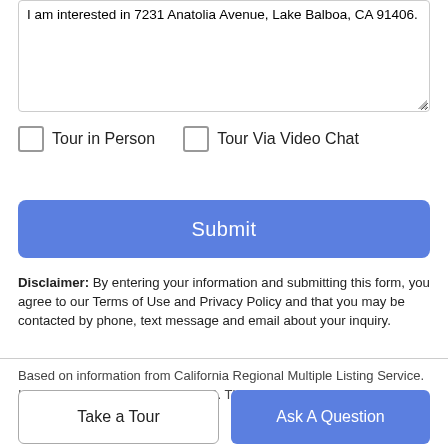I am interested in 7231 Anatolia Avenue, Lake Balboa, CA 91406.
Tour in Person
Tour Via Video Chat
Submit
Disclaimer: By entering your information and submitting this form, you agree to our Terms of Use and Privacy Policy and that you may be contacted by phone, text message and email about your inquiry.
Based on information from California Regional Multiple Listing Service. Inc. as of 2022-08-30T13:37:09.59. This information is for
Take a Tour
Ask A Question